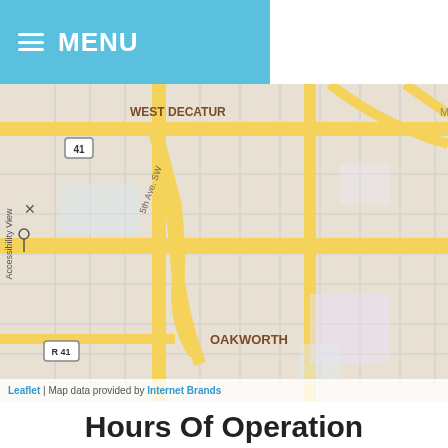MENU
[Figure (map): Street map showing West Decatur, Oakworth, and Albany Decatur areas with a map marker labeled 'Map Marker' near Moulton area. Yellow roads, street grid visible. Route 41 and Route 31 marked. Green parks visible.]
Leaflet | Map data provided by Internet Brands
Hours Of Operation
Our Regular Schedule
PRIMARY LOCATION